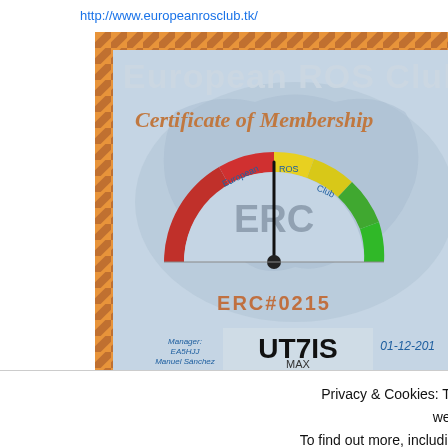http://www.europeanrosclub.tk/
[Figure (illustration): European ROS Club Certificate of Membership showing a radio signal meter gauge (ERC) with red, yellow, and green sections. The certificate displays callsign UT7IS, membership number ERC#0215, level MAX, manager EA5HJJ Manuel Sanchez, and date 01-12-201x. Background shows a map of Europe with orange diagonal-stripe border.]
Privacy & Cookies: This site uses cookies. By continuing to use this website, you agree to their use.
To find out more, including how to control cookies, see here: Cookie Policy
Close and accept